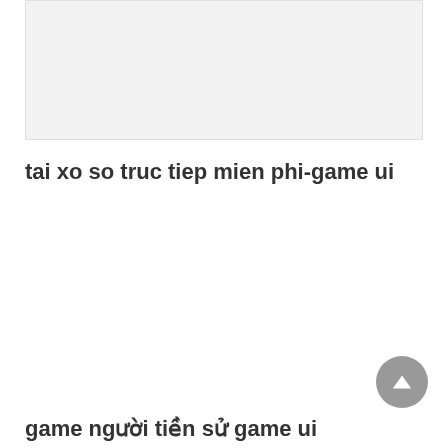[Figure (other): Light gray rectangular image placeholder area at the top of the page]
tai xo so truc tiep mien phi-game ui
game người tiền sử game ui